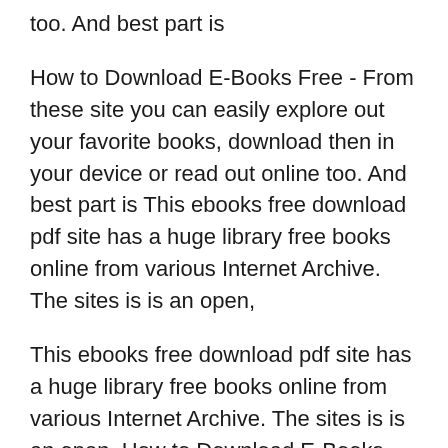too. And best part is
How to Download E-Books Free - From these site you can easily explore out your favorite books, download then in your device or read out online too. And best part is This ebooks free download pdf site has a huge library free books online from various Internet Archive. The sites is is an open,
This ebooks free download pdf site has a huge library free books online from various Internet Archive. The sites is is an open, How to Download E-Books Free - From these site you can easily explore out your favorite books, download then in your device or read out online too. And best part is